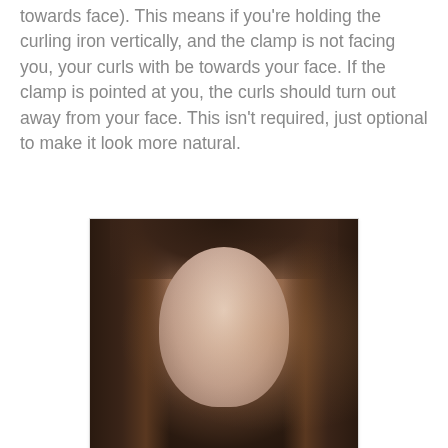towards face). This means if you're holding the curling iron vertically, and the clamp is not facing you, your curls with be towards your face. If the clamp is pointed at you, the curls should turn out away from your face. This isn't required, just optional to make it look more natural.
[Figure (photo): Portrait photo of a woman with long wavy brown hair with warm highlights, light eyes, wearing dark clothing. The photo has a warm sepia-toned quality. She is smiling slightly and looking at the camera.]